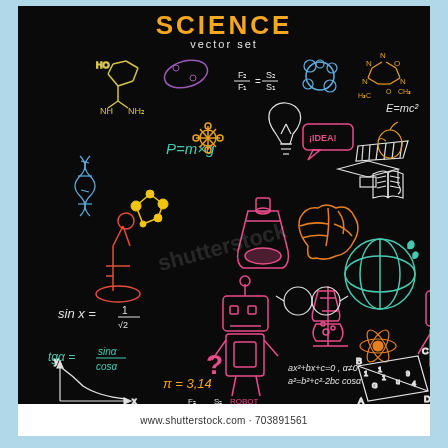[Figure (illustration): Science vector set illustration on black background featuring colorful hand-drawn doodles including: chemical structures (HO, NH, NH2 groups), microscope, DNA helix, molecule diagrams, light bulb, IDEA speech bubble, graduation cap, open book, apple, brain, globe, robot, flask, bunsen burner, glasses, atom symbol, protractor, and mathematical/scientific formulas including P=mxg, E=mc2, sin x = 1/sqrt(2), tga = sind/cosd, y-x graph, Pi=3.14, F2/F1=S2/S1, ax2+bx+c=0 a≠0, a2=b2+c2-2bc cosd, geometric diagram with triangle ABCD. Title says SCIENCE vector set in orange/yellow text at top center. Shutterstock watermark visible.]
www.shutterstock.com · 703891561